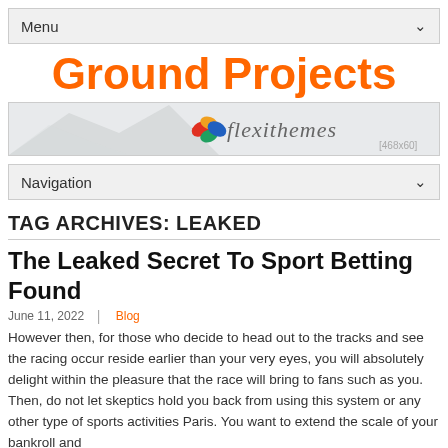Menu
Ground Projects
[Figure (logo): Flexithemes banner logo with mountain silhouette, colorful leaf icon, italic grey text 'flexithemes', and [468x60] placeholder label]
Navigation
TAG ARCHIVES: LEAKED
The Leaked Secret To Sport Betting Found
June 11, 2022  |  Blog
However then, for those who decide to head out to the tracks and see the racing occur reside earlier than your very eyes, you will absolutely delight within the pleasure that the race will bring to fans such as you. Then, do not let skeptics hold you back from using this system or any other type of sports activities Paris. You want to extend the scale of your bankroll and